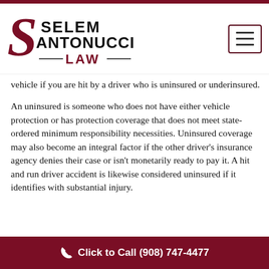[Figure (logo): Selem Santonucci Law firm logo with stylized S and firm name in serif font]
vehicle if you are hit by a driver who is uninsured or underinsured.
An uninsured is someone who does not have either vehicle protection or has protection coverage that does not meet state-ordered minimum responsibility necessities. Uninsured coverage may also become an integral factor if the other driver's insurance agency denies their case or isn't monetarily ready to pay it. A hit and run driver accident is likewise considered uninsured if it identifies with substantial injury.
Click to Call (908) 747-4477